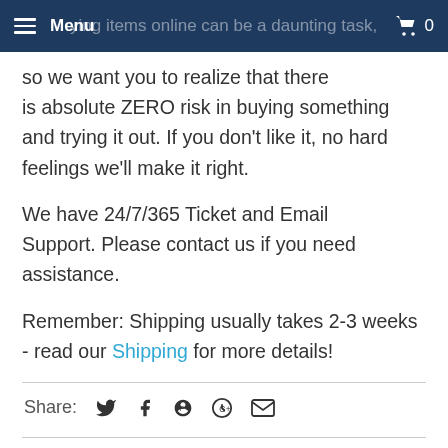Menu | [cart icon] 0
ying items online can be a daunting task, so we want you to realize that there is absolute ZERO risk in buying something and trying it out. If you don't like it, no hard feelings we'll make it right.
We have 24/7/365 Ticket and Email Support. Please contact us if you need assistance.
Remember: Shipping usually takes 2-3 weeks - read our Shipping for more details!
Share: [twitter] [facebook] [pinterest] [google+] [email]
★★★★★ 15 Reviews